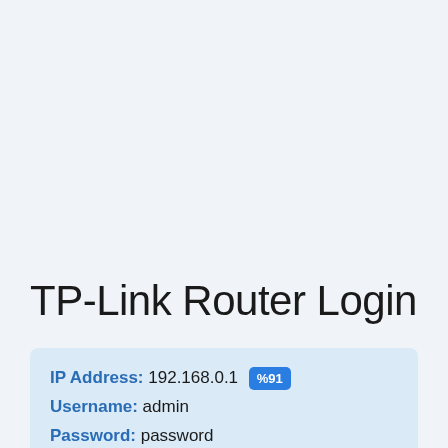TP-Link Router Login
IP Address: 192.168.0.1 %91
Username: admin
Password: password